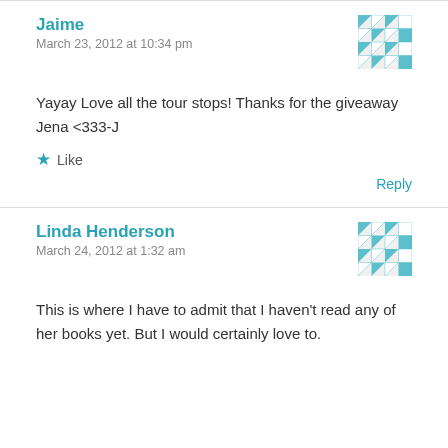Jaime
March 23, 2012 at 10:34 pm
Yayay Love all the tour stops! Thanks for the giveaway Jena <333-J
★ Like
Reply
Linda Henderson
March 24, 2012 at 1:32 am
This is where I have to admit that I haven't read any of her books yet. But I would certainly love to.